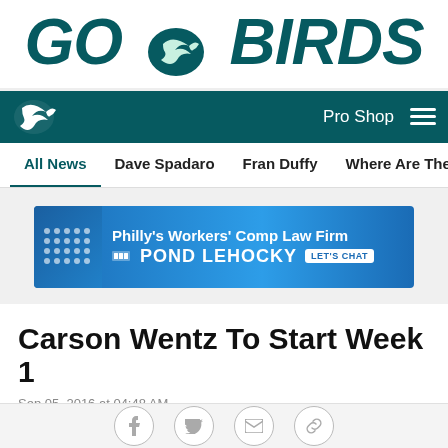GO BIRDS
Pro Shop
All News  Dave Spadaro  Fran Duffy  Where Are They Now?  Pu
[Figure (other): Pond Lehocky advertisement banner - Philly's Workers' Comp Law Firm POND LEHOCKY LET'S CHAT]
Carson Wentz To Start Week 1
Sep 05, 2016 at 04:48 AM
PhiladelphiaEagles.com